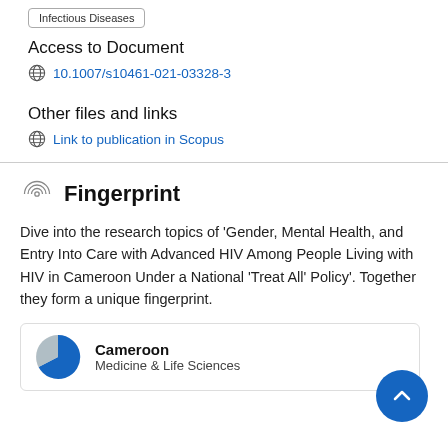Infectious Diseases
Access to Document
10.1007/s10461-021-03328-3
Other files and links
Link to publication in Scopus
Fingerprint
Dive into the research topics of 'Gender, Mental Health, and Entry Into Care with Advanced HIV Among People Living with HIV in Cameroon Under a National ‘Treat All’ Policy'. Together they form a unique fingerprint.
Cameroon
Medicine & Life Sciences